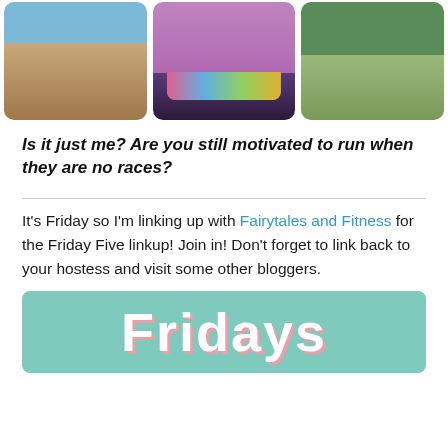[Figure (photo): Three outdoor photos side by side: left shows dry brush and utility poles under blue sky, center shows a person in pink/purple long sleeve shirt and floral skirt running outfit, right shows evergreen trees in a park setting.]
Is it just me? Are you still motivated to run when they are no races?
It's Friday so I'm linking up with Fairytales and Fitness for the Friday Five linkup! Join in! Don't forget to link back to your hostess and visit some other bloggers.
[Figure (illustration): Teal/mint colored banner with large white bold text reading 'Fridays' with a pink drop shadow]